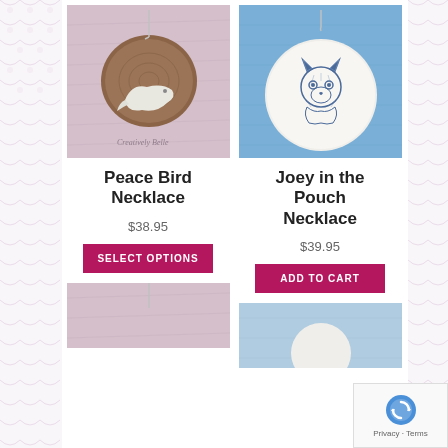[Figure (photo): Peace Bird Necklace product photo: silver bird pendant on a wooden disk with a chain, pink fabric background, watermark 'Creatively Belle']
Peace Bird Necklace
$38.95
SELECT OPTIONS
[Figure (photo): Joey in the Pouch Necklace product photo: round ceramic/porcelain pendant with blue fox/joey illustration on blue fabric background]
Joey in the Pouch Necklace
$39.95
ADD TO CART
[Figure (photo): Bottom left product photo partially visible, pink fabric background with chain]
[Figure (photo): Bottom right product photo partially visible]
[Figure (other): Google reCAPTCHA badge with logo and Privacy · Terms text]